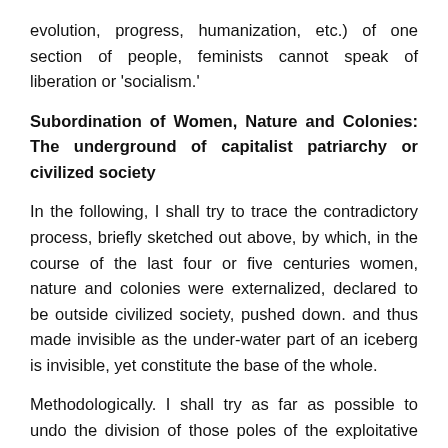evolution, progress, humanization, etc.) of one section of people, feminists cannot speak of liberation or 'socialism.'
Subordination of Women, Nature and Colonies: The underground of capitalist patriarchy or civilized society
In the following, I shall try to trace the contradictory process, briefly sketched out above, by which, in the course of the last four or five centuries women, nature and colonies were externalized, declared to be outside civilized society, pushed down. and thus made invisible as the under-water part of an iceberg is invisible, yet constitute the base of the whole.
Methodologically. I shall try as far as possible to undo the division of those poles of the exploitative relations which are usually analysed as separate entities. Our understanding of scholarly work or research follows